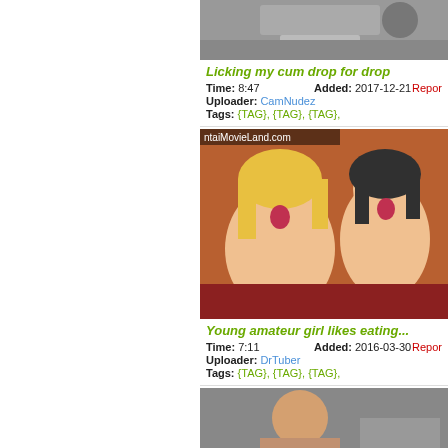[Figure (photo): Video thumbnail - top portion of live action video]
Licking my cum drop for drop
Time: 8:47   Added: 2017-12-21   Uploader: CamNudez   Report   Tags: {TAG}, {TAG}, {TAG},
[Figure (photo): Anime/hentai video thumbnail showing two animated characters, watermark ntaiMovieLand.com]
Young amateur girl likes eating...
Time: 7:11   Added: 2016-03-30   Uploader: DrTuber   Report   Tags: {TAG}, {TAG}, {TAG},
[Figure (photo): Third video thumbnail - partial view of live action video]